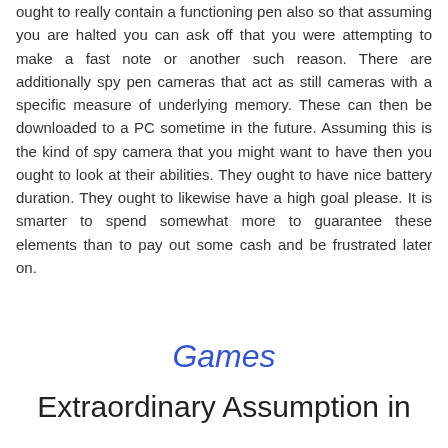ought to really contain a functioning pen also so that assuming you are halted you can ask off that you were attempting to make a fast note or another such reason. There are additionally spy pen cameras that act as still cameras with a specific measure of underlying memory. These can then be downloaded to a PC sometime in the future. Assuming this is the kind of spy camera that you might want to have then you ought to look at their abilities. They ought to have nice battery duration. They ought to likewise have a high goal please. It is smarter to spend somewhat more to guarantee these elements than to pay out some cash and be frustrated later on.
Games
Extraordinary Assumption in